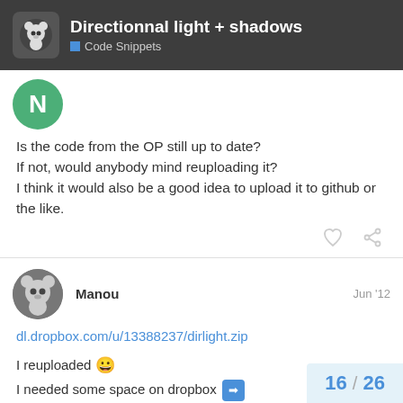Directionnal light + shadows — Code Snippets
Is the code from the OP still up to date?
If not, would anybody mind reuploading it?
I think it would also be a good idea to upload it to github or the like.
Manou   Jun '12
dl.dropbox.com/u/13388237/dirlight.zip
I reuploaded 😀
I needed some space on dropbox ➡
16 / 26